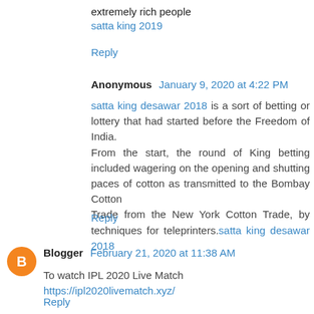extremely rich people
satta king 2019
Reply
Anonymous  January 9, 2020 at 4:22 PM
satta king desawar 2018 is a sort of betting or lottery that had started before the Freedom of India.
From the start, the round of King betting included wagering on the opening and shutting paces of cotton as transmitted to the Bombay Cotton
Trade from the New York Cotton Trade, by techniques for teleprinters.satta king desawar 2018
Reply
Blogger  February 21, 2020 at 11:38 AM
To watch IPL 2020 Live Match https://ipl2020livematch.xyz/
Reply